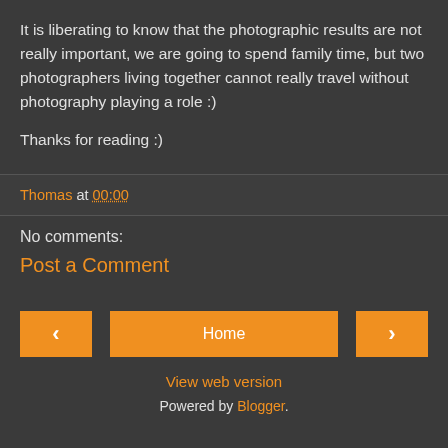It is liberating to know that the photographic results are not really important, we are going to spend family time, but two photographers living together cannot really travel without photography playing a role :)
Thanks for reading :)
Thomas at 00:00
No comments:
Post a Comment
‹
Home
›
View web version
Powered by Blogger.